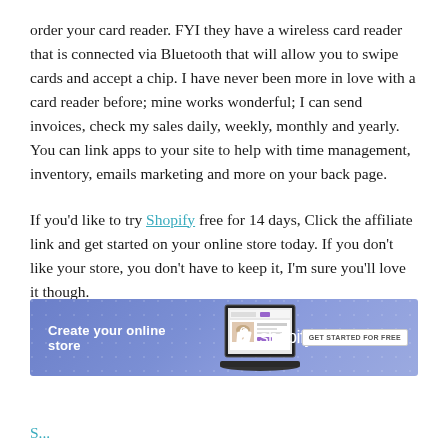order your card reader. FYI they have a wireless card reader that is connected via Bluetooth that will allow you to swipe cards and accept a chip. I have never been more in love with a card reader before; mine works wonderful; I can send invoices, check my sales daily, weekly, monthly and yearly. You can link apps to your site to help with time management, inventory, emails marketing and more on your back page.
If you'd like to try Shopify free for 14 days, Click the affiliate link and get started on your online store today. If you don't like your store, you don't have to keep it, I'm sure you'll love it though.
[Figure (infographic): Shopify banner ad with text 'Create your online store', a laptop image, Shopify logo, and 'Get Started For Free' button on a blue/purple gradient background]
S...